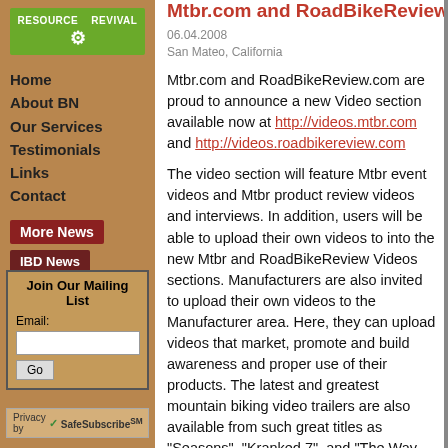[Figure (logo): Resource Revival logo with gear icon on green background]
Home
About BN
Our Services
Testimonials
Links
Contact
More News
IBD News
Join Our Mailing List
Email:
Privacy by SafeSubscribeSM
Mtbr.com and RoadBikeReview.co...
06.04.2008
San Mateo, California
Mtbr.com and RoadBikeReview.com are proud to announce a new Video section available now at http://videos.mtbr.com and http://videos.roadbikereview.com
The video section will feature Mtbr event videos and Mtbr product review videos and interviews. In addition, users will be able to upload their own videos to into the new Mtbr and RoadBikeReview Videos sections. Manufacturers are also invited to upload their own videos to the Manufacturer area. Here, they can upload videos that market, promote and build awareness and proper use of their products. The latest and greatest mountain biking video trailers are also available from such great titles as "Seasons", "Kranked 7", and "The Way Bobby Sees It". Current event videos include highlights from the Qashqai Nissan Challenge and the Maribor World C...